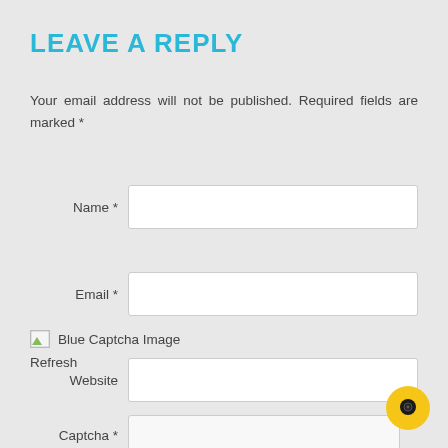LEAVE A REPLY
Your email address will not be published. Required fields are marked *
Name *
Email *
Website
[Figure (other): Broken image placeholder labeled 'Blue Captcha Image']
Refresh
Captcha *
[Figure (other): Yellow circular chat button with eye/chat icon in bottom right corner]